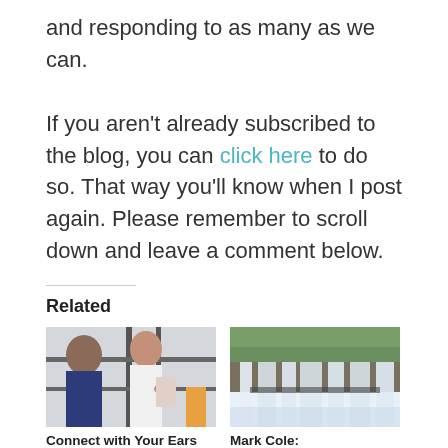and responding to as many as we can.

If you aren't already subscribed to the blog, you can click here to do so. That way you'll know when I post again. Please remember to scroll down and leave a comment below.
Related
[Figure (photo): Two women having a conversation, one facing the camera]
Connect with Your Ears
February 19, 2019
In "Everyone Communicates Few Connect"
[Figure (photo): Waterfall landscape photo]
Mark Cole: Transformational Leadership Applied
March 8, 2019
In "Intentional Living"
[Figure (photo): Partial image at bottom of page]